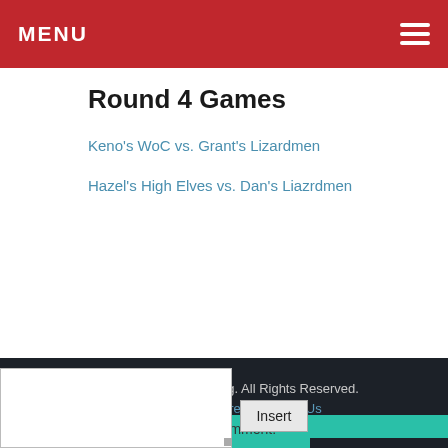MENU
Round 4 Games
Keno's WoC vs. Grant's Lizardmen
Hazel's High Elves vs. Dan's Liazrdmen
© 2018 Frontline Gaming. All Rights Reserved. Visit Our Web Store | Contact Us
Would love your thoughts, please comment.
| Reply
Insert